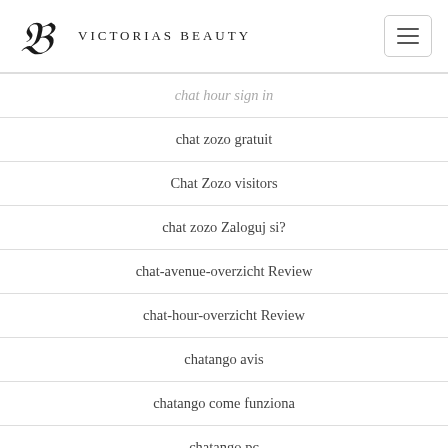Victorias Beauty
chat hour sign in
chat zozo gratuit
Chat Zozo visitors
chat zozo Zaloguj si?
chat-avenue-overzicht Review
chat-hour-overzicht Review
chatango avis
chatango come funziona
chatango pc